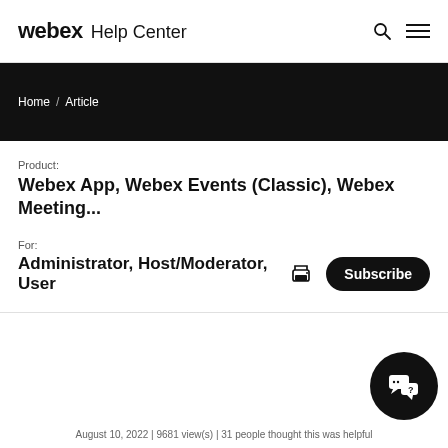webex Help Center
Home / Article
Product:
Webex App, Webex Events (Classic), Webex Meeting...
For:
Administrator, Host/Moderator, User
Subscribe
August 10, 2022 | 9681 view(s) | 31 people thought this was helpful